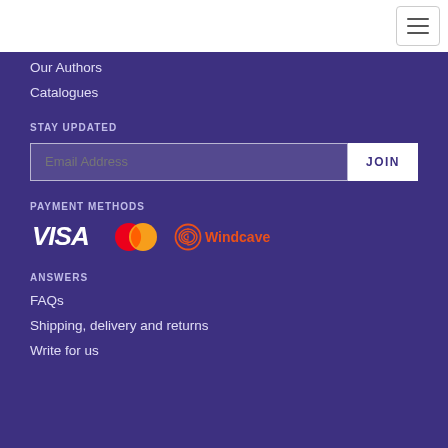[Figure (other): Hamburger menu icon button in top right corner]
Our Authors
Catalogues
STAY UPDATED
[Figure (other): Email address input field with JOIN button]
PAYMENT METHODS
[Figure (logo): VISA logo, Mastercard logo, and Windcave logo]
ANSWERS
FAQs
Shipping, delivery and returns
Write for us